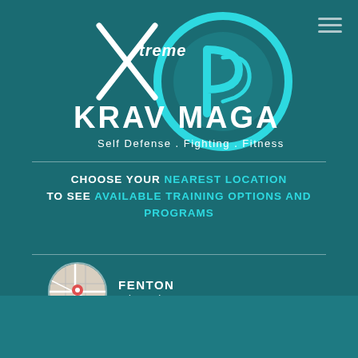[Figure (logo): Xtreme Krav Maga logo with circular blue emblem and text 'Self Defense . Fighting . Fitness']
CHOOSE YOUR NEAREST LOCATION TO SEE AVAILABLE TRAINING OPTIONS AND PROGRAMS
FENTON — Missouri 63026
DORSETT — Missouri 63043
Courtney — Recently Received More Information! — 1 hour ago